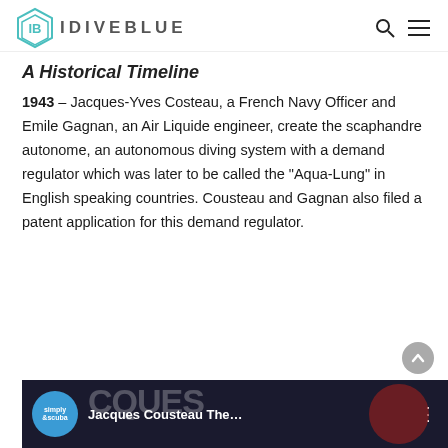IDIVEBLUE
A Historical Timeline
1943 – Jacques-Yves Costeau, a French Navy Officer and Emile Gagnan, an Air Liquide engineer, create the scaphandre autonome, an autonomous diving system with a demand regulator which was later to be called the “Aqua-Lung” in English speaking countries. Cousteau and Gagnan also filed a patent application for this demand regulator.
[Figure (screenshot): Video thumbnail showing a dark background with 'simply ascuba' circle logo on the left, large text 'CQUES' partially visible, red blob shape, and text 'Jacques Cousteau The...' with a menu dots icon on the right.]